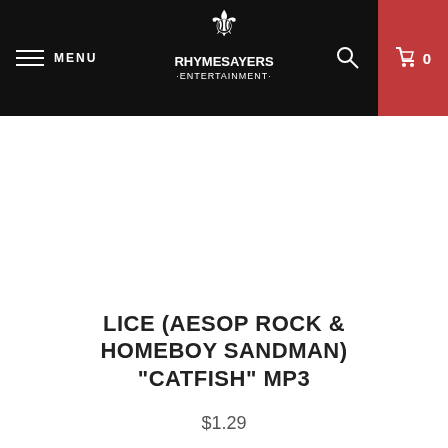MENU — Rhymesayers Entertainment — 0
LICE (AESOP ROCK & HOMEBOY SANDMAN) "CATFISH" MP3
$1.29